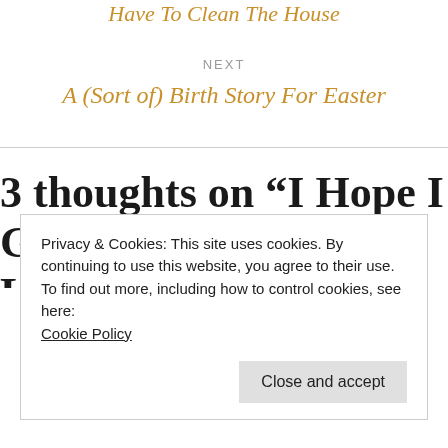Have To Clean The House
NEXT
A (Sort of) Birth Story For Easter
3 thoughts on “I Hope I Go Doing Something I Love”
Privacy & Cookies: This site uses cookies. By continuing to use this website, you agree to their use.
To find out more, including how to control cookies, see here:
Cookie Policy
Close and accept
I so feel for Laeticia’s family. Heartbreaking stuff.